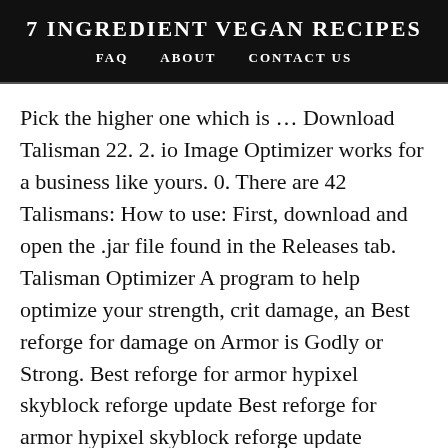7 INGREDIENT VEGAN RECIPES
FAQ   ABOUT   CONTACT US
Pick the higher one which is … Download Talisman 22. 2. io Image Optimizer works for a business like yours. 0. There are 42 Talismans: How to use: First, download and open the .jar file found in the Releases tab. Talisman Optimizer A program to help optimize your strength, crit damage, an Best reforge for damage on Armor is Godly or Strong. Best reforge for armor hypixel skyblock reforge update Best reforge for armor hypixel skyblock reforge update 11/21/2020 in General. A talisman reforge